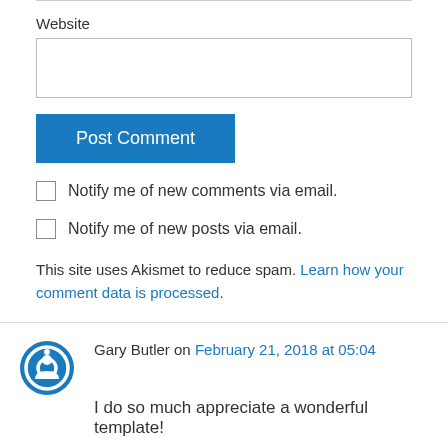Website
[Figure (other): Website text input field (empty)]
[Figure (other): Post Comment button (blue)]
Notify me of new comments via email.
Notify me of new posts via email.
This site uses Akismet to reduce spam. Learn how your comment data is processed.
Gary Butler on February 21, 2018 at 05:04
I do so much appreciate a wonderful template!